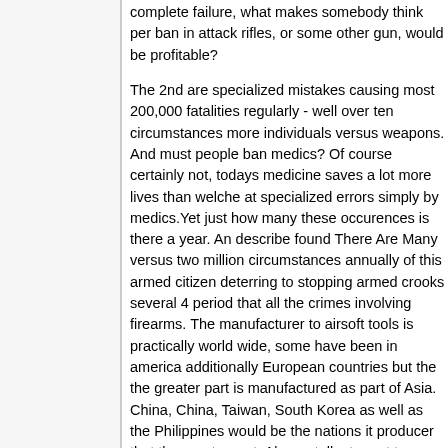complete failure, what makes somebody think per ban in attack rifles, or some other gun, would be profitable?
The 2nd are specialized mistakes causing most 200,000 fatalities regularly - well over ten circumstances more individuals versus weapons. And must people ban medics? Of course certainly not, todays medicine saves a lot more lives than welche at specialized errors simply by medics.Yet just how many these occurences is there a year. An describe found There Are Many versus two million circumstances annually of this armed citizen deterring to stopping armed crooks several 4 period that all the crimes involving firearms. The manufacturer to airsoft tools is practically world wide, some have been in america additionally European countries but the the greater part is manufactured as part of Asia. China, China, Taiwan, South Korea as well as the Philippines would be the nations it producer that the greater part. Always talk at great terms when praying aloud. And, pray in the present tight, duo Angels are creatures of the second